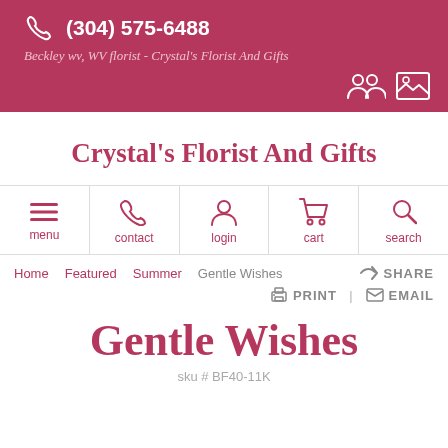(304) 575-6488
Beckley wv, WV florist - Crystal's Florist And Gifts
Crystal's Florist And Gifts
[Figure (infographic): Navigation bar with icons: menu (hamburger), contact (phone), login (user), cart (shopping cart), search (magnifying glass)]
Home Featured Summer Gentle Wishes SHARE
PRINT EMAIL
Gentle Wishes
sku # BF40-11K